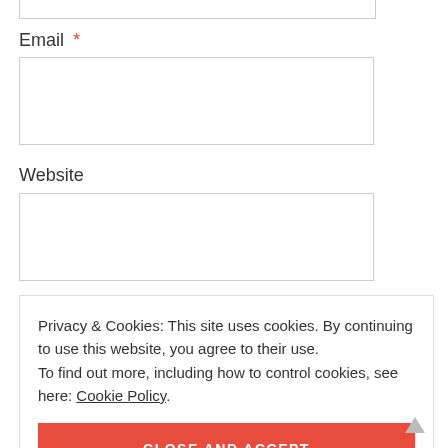Email *
Website
POST COMMENT
Privacy & Cookies: This site uses cookies. By continuing to use this website, you agree to their use. To find out more, including how to control cookies, see here: Cookie Policy
CLOSE AND ACCEPT